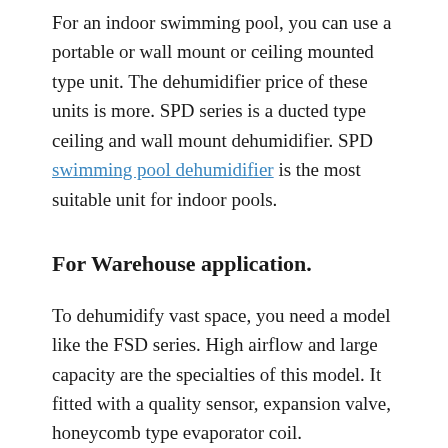For an indoor swimming pool, you can use a portable or wall mount or ceiling mounted type unit. The dehumidifier price of these units is more. SPD series is a ducted type ceiling and wall mount dehumidifier. SPD swimming pool dehumidifier is the most suitable unit for indoor pools.
For Warehouse application.
To dehumidify vast space, you need a model like the FSD series. High airflow and large capacity are the specialties of this model. It fitted with a quality sensor, expansion valve, honeycomb type evaporator coil.